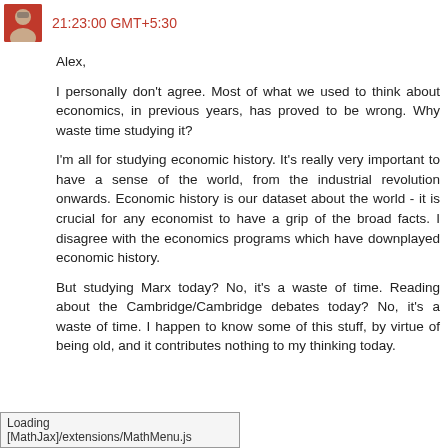21:23:00 GMT+5:30
Alex,

I personally don't agree. Most of what we used to think about economics, in previous years, has proved to be wrong. Why waste time studying it?

I'm all for studying economic history. It's really very important to have a sense of the world, from the industrial revolution onwards. Economic history is our dataset about the world - it is crucial for any economist to have a grip of the broad facts. I disagree with the economics programs which have downplayed economic history.

But studying Marx today? No, it's a waste of time. Reading about the Cambridge/Cambridge debates today? No, it's a waste of time. I happen to know some of this stuff, by virtue of being old, and it contributes nothing to my thinking today.
Loading [MathJax]/extensions/MathMenu.js